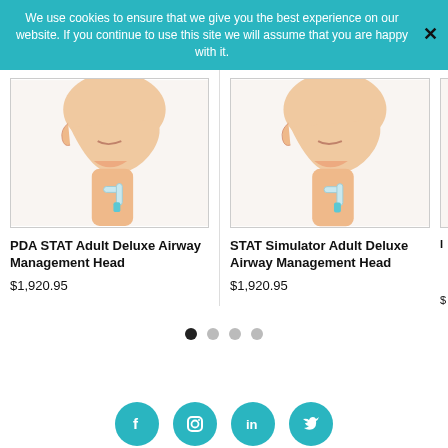We use cookies to ensure that we give you the best experience on our website. If you continue to use this site we will assume that you are happy with it.
[Figure (photo): Medical mannequin head showing neck/airway with tracheostomy tube inserted, front-left angle view]
PDA STAT Adult Deluxe Airway Management Head
$1,920.95
[Figure (photo): Medical mannequin head showing neck/airway with tracheostomy tube inserted, similar front angle view]
STAT Simulator Adult Deluxe Airway Management Head
$1,920.95